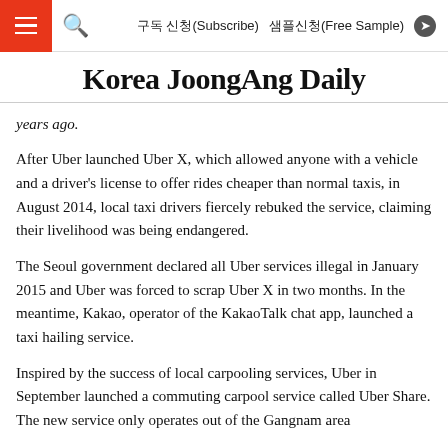구독 신청(Subscribe)   샘플신청(Free Sample)
Korea JoongAng Daily
years ago.
After Uber launched Uber X, which allowed anyone with a vehicle and a driver's license to offer rides cheaper than normal taxis, in August 2014, local taxi drivers fiercely rebuked the service, claiming their livelihood was being endangered.
The Seoul government declared all Uber services illegal in January 2015 and Uber was forced to scrap Uber X in two months. In the meantime, Kakao, operator of the KakaoTalk chat app, launched a taxi hailing service.
Inspired by the success of local carpooling services, Uber in September launched a commuting carpool service called Uber Share. The new service only operates out of the Gangnam area